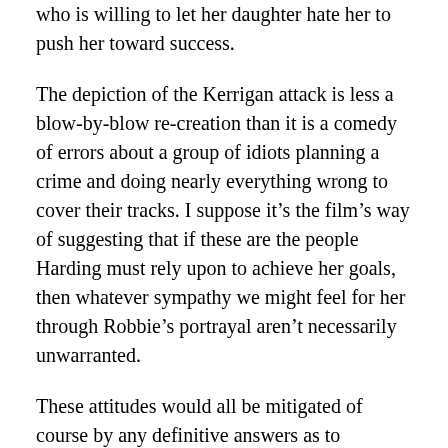who is willing to let her daughter hate her to push her toward success.
The depiction of the Kerrigan attack is less a blow-by-blow re-creation than it is a comedy of errors about a group of idiots planning a crime and doing nearly everything wrong to cover their tracks. I suppose it’s the film’s way of suggesting that if these are the people Harding must rely upon to achieve her goals, then whatever sympathy we might feel for her through Robbie’s portrayal aren’t necessarily unwarranted.
These attitudes would all be mitigated of course by any definitive answers as to Harding’s role in planning the assault, which the film is unable to provide. By the end, as footage of the real Harding’s figure skating plays during the credits, the film has become something of a whacky tribute to her.
The Blu-ray offers 17-minutes of deleted scenes